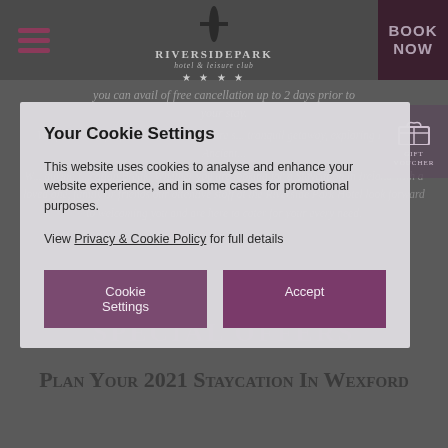RiversidePark Hotel & Leisure Club — BOOK NOW
you can avail of free cancellation up to 2 days prior to your stay.
Wexford is the perfect destination if youre s... tranquil getaway, exploring Ireland Ancient...
W... during t...cation Break. Whether you are looking for a Staycation in Ireland with a loved one, family or friends our attentive staff at the Riverside Park Hotel look forward to welcoming you and are here to cater for your every need.
Your Cookie Settings
This website uses cookies to analyse and enhance your website experience, and in some cases for promotional purposes.
View Privacy & Cookie Policy for full details
Cookie Settings
Accept
Special Offers
Plan Your 2021 Staycation In Wexford